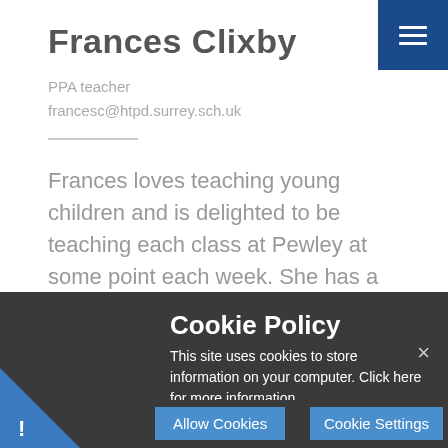Frances Clixby
PPA teacher
francesc@htpd.surrey.sch.uk
Frances loves teaching young children and is delighted to be teaching each class at Pewley at some point each week. She has a tendency to invent a song for everything, from lining up, to remembering book bags
Cookie Policy
This site uses cookies to store information on your computer. Click here for more information
Allow Cookies
Cookie Settings